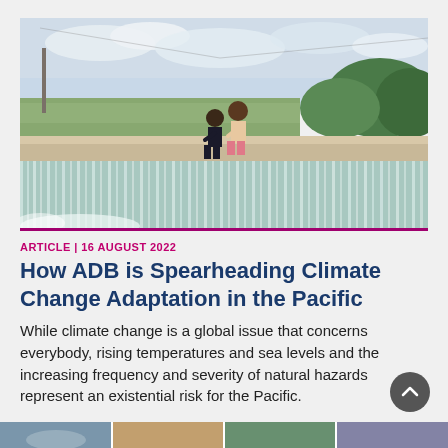[Figure (photo): Two children standing on the edge of a flooded dam or weir in a Pacific island setting, with water cascading over the concrete wall. Tropical landscape with palm trees and mountains in background, cloudy sky.]
ARTICLE | 16 AUGUST 2022
How ADB is Spearheading Climate Change Adaptation in the Pacific
While climate change is a global issue that concerns everybody, rising temperatures and sea levels and the increasing frequency and severity of natural hazards represent an existential risk for the Pacific.
[Figure (photo): A strip of small thumbnail images at the bottom of the page showing additional related article or photo content.]